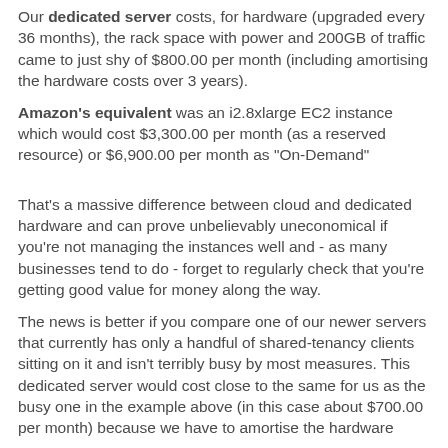Our dedicated server costs, for hardware (upgraded every 36 months), the rack space with power and 200GB of traffic came to just shy of $800.00 per month (including amortising the hardware costs over 3 years).
Amazon's equivalent was an i2.8xlarge EC2 instance which would cost $3,300.00 per month (as a reserved resource) or $6,900.00 per month as "On-Demand"
That's a massive difference between cloud and dedicated hardware and can prove unbelievably uneconomical if you're not managing the instances well and - as many businesses tend to do - forget to regularly check that you're getting good value for money along the way.
The news is better if you compare one of our newer servers that currently has only a handful of shared-tenancy clients sitting on it and isn't terribly busy by most measures. This dedicated server would cost close to the same for us as the busy one in the example above (in this case about $700.00 per month) because we have to amortise the hardware